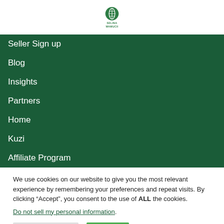[Figure (logo): Selina Wamucii logo — green circular leaf icon with text SELINA WAMUCII below]
Seller Sign up
Blog
Insights
Partners
Home
Kuzi
Affiliate Program
We use cookies on our website to give you the most relevant experience by remembering your preferences and repeat visits. By clicking “Accept”, you consent to the use of ALL the cookies.
Do not sell my personal information.